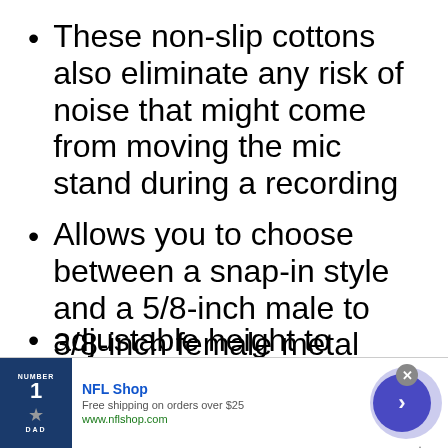These non-slip cottons also eliminate any risk of noise that might come from moving the mic stand during a recording
Allows you to choose between a snap-in style and a 5/8-inch male to 3/8-inch female metal threaded screw for microphone support
[Figure (screenshot): Partial bullet point text cut off at bottom, partially visible]
[Figure (screenshot): NFL Shop advertisement banner at the bottom of the page, showing a Dallas Cowboys shirt, NFL Shop branding, free shipping offer, website URL, close button, and navigation arrow button]